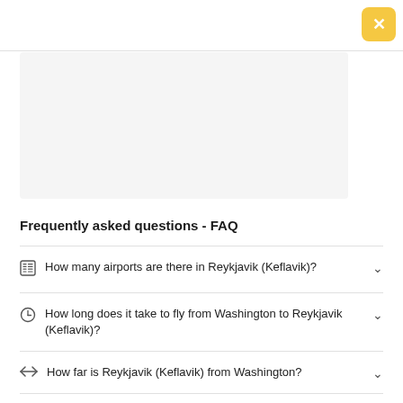[Figure (other): Yellow close/X button in top-right corner]
[Figure (other): Light gray advertisement or image placeholder box]
Frequently asked questions - FAQ
How many airports are there in Reykjavik (Keflavik)?
How long does it take to fly from Washington to Reykjavik (Keflavik)?
How far is Reykjavik (Keflavik) from Washington?